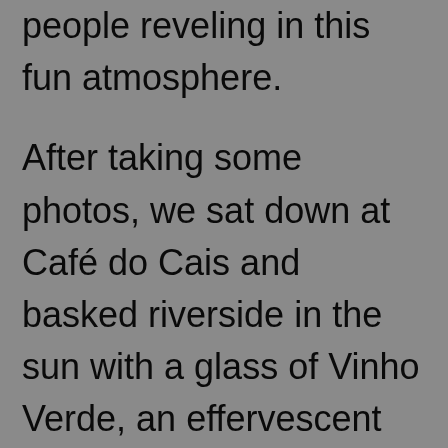people reveling in this fun atmosphere.
After taking some photos, we sat down at Café do Cais and basked riverside in the sun with a glass of Vinho Verde, an effervescent white wine that is magical.  In my last post I talked about how sick I was the day before when we took the bus to Porto, so in that moment I felt